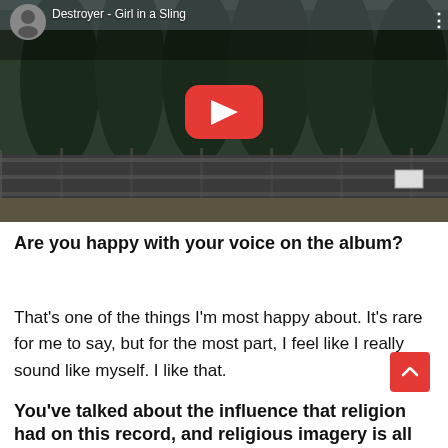[Figure (screenshot): YouTube embedded video player showing 'Destroyer - Girl in a Sling' with a background of trees and a fence, featuring a red YouTube play button in the center and the channel avatar and title in the top-left corner.]
Are you happy with your voice on the album?
That's one of the things I'm most happy about. It's rare for me to say, but for the most part, I feel like I really sound like myself. I like that.
You've talked about the influence that religion had on this record, and religious imagery is all over a few of